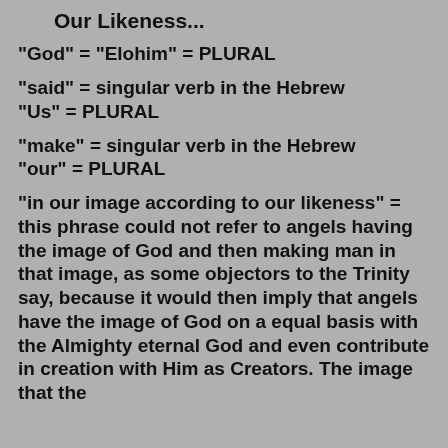Our Likeness...
"God" = "Elohim" = PLURAL
"said" = singular verb in the Hebrew
"Us" = PLURAL
"make" = singular verb in the Hebrew
"our" = PLURAL
"in our image according to our likeness" = this phrase could not refer to angels having the image of God and then making man in that image, as some objectors to the Trinity say, because it would then imply that angels have the image of God on a equal basis with the Almighty eternal God and even contribute in creation with Him as Creators. The image that the